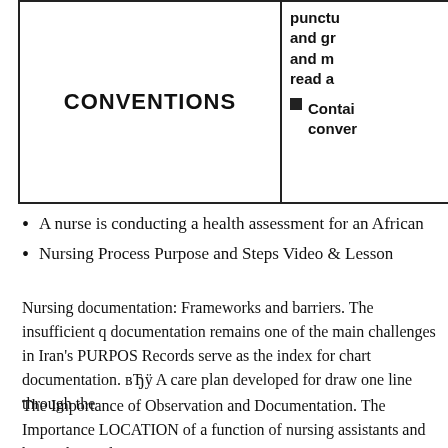| CONVENTIONS |  |
| --- | --- |
|  | punctu and gr and m read a |
|  | Contai conver |
A nurse is conducting a health assessment for an African
Nursing Process Purpose and Steps Video & Lesson
Nursing documentation: Frameworks and barriers. The insufficient q documentation remains one of the main challenges in Iran's PURPOS Records serve as the index for chart documentation. вЂ&#x0178; A care plan developed for draw one line through the
The Importance of Observation and Documentation. The Importance LOCATION of a function of nursing assistants and home the total ca